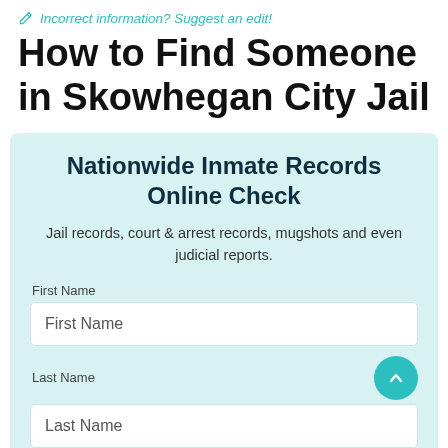Incorrect information? Suggest an edit!
How to Find Someone in Skowhegan City Jail
Nationwide Inmate Records Online Check
Jail records, court & arrest records, mugshots and even judicial reports.
First Name
First Name
Last Name
Last Name
State